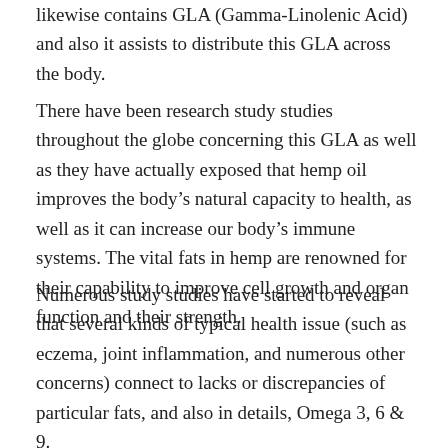likewise contains GLA (Gamma-Linolenic Acid) and also it assists to distribute this GLA across the body.
There have been research study studies throughout the globe concerning this GLA as well as they have actually exposed that hemp oil improves the body's natural capacity to health, as well as it can increase our body's immune systems. The vital fats in hemp are renowned for their capability to improve cell growth and organ function and their strength.
Numerous study studies have started to reveal that several kinds of typical health issue (such as eczema, joint inflammation, and numerous other concerns) connect to lacks or discrepancies of particular fats, and also in details, Omega 3, 6 & 9.